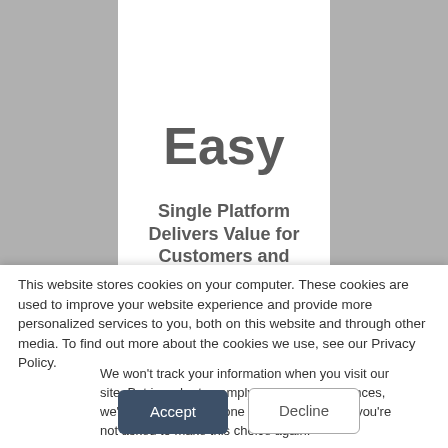Easy
Single Platform Delivers Value for Customers and Employees
This website stores cookies on your computer. These cookies are used to improve your website experience and provide more personalized services to you, both on this website and through other media. To find out more about the cookies we use, see our Privacy Policy.
We won't track your information when you visit our site. But in order to comply with your preferences, we'll have to use just one tiny cookie so that you're not asked to make this choice again.
Accept
Decline